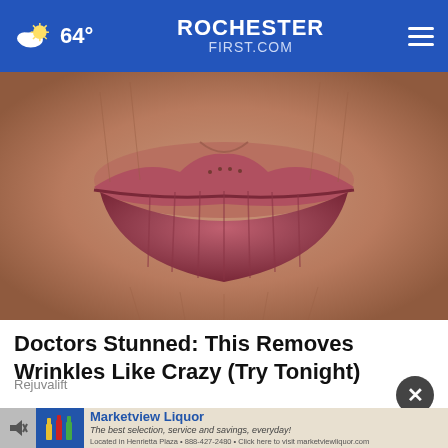64° ROCHESTERFIRST.COM
[Figure (photo): Extreme close-up of an elderly person's lips showing deep wrinkles and aged skin texture]
Doctors Stunned: This Removes Wrinkles Like Crazy (Try Tonight)
Rejuvalift
[Figure (other): Marketview Liquor advertisement banner with bottle logo and text: The best selection, service and savings, everyday! Located in Henrietta Plaza • 888-427-2480 • Click here to visit marketviewliquor.com]